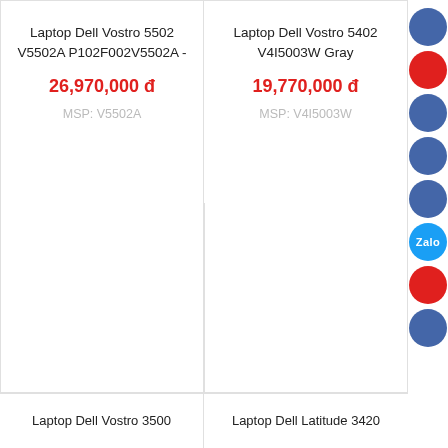Laptop Dell Vostro 5502 V5502A P102F002V5502A -
26,970,000 đ
MSP: V5502A
Laptop Dell Vostro 5402 V4I5003W Gray
19,770,000 đ
MSP: V4I5003W
Laptop Dell Vostro 3500
Laptop Dell Latitude 3420
[Figure (infographic): Vertical stack of social media / contact buttons on the right side: dark blue circle, red circle, dark blue circle, dark blue circle, dark blue circle, Zalo (cyan) circle, red circle, dark blue circle]